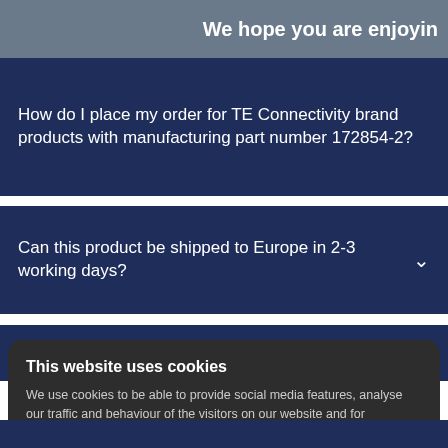We hope you are enjoyin
How do I place my order for TE Connectivity brand products with manufacturing part number 172854-2?
Can this product be shipped to Europe in 2-3 working days?
Can I check the status of my order
This website uses cookies
We use cookies to be able to provide social media features, analyse our traffic and behaviour of the visitors on our website and for marketing purposes. Sometimes we share this anonymised information to 3rd party partner companies. More information
I accept all Cookies
Change settings